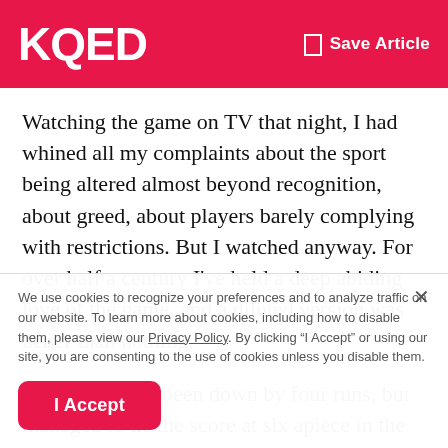KQED  Save Article
Watching the game on TV that night, I had whined all my complaints about the sport being altered almost beyond recognition, about greed, about players barely complying with restrictions. But I watched anyway. For over half a century I’ve held a deep abiding love of the game, and a diluted version was better than nothing.
The Giants had been down by four runs, but managed to tie the score at six apiece in the bottom of the eighth inning
We use cookies to recognize your preferences and to analyze traffic on our website. To learn more about cookies, including how to disable them, please view our Privacy Policy. By clicking “I Accept” or using our site, you are consenting to the use of cookies unless you disable them.
I Accept